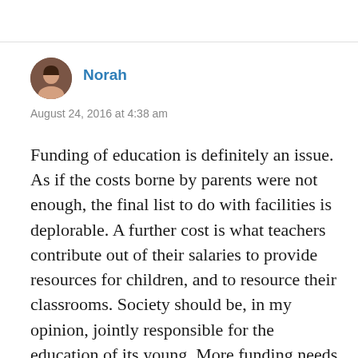[Figure (photo): Circular avatar photo of a woman named Norah]
Norah
August 24, 2016 at 4:38 am
Funding of education is definitely an issue. As if the costs borne by parents were not enough, the final list to do with facilities is deplorable. A further cost is what teachers contribute out of their salaries to provide resources for children, and to resource their classrooms. Society should be, in my opinion, jointly responsible for the education of its young. More funding needs to be allocated to raising informed and contributing members of society. (I’m not from Canada, but I see a similar funding situation